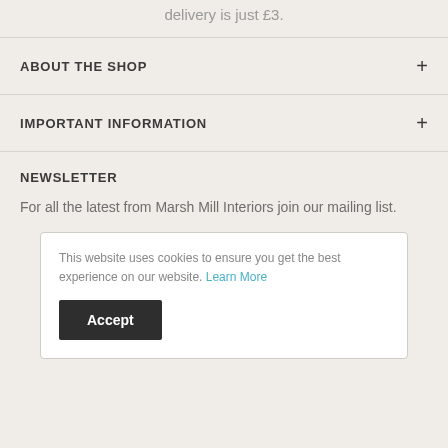delivery is just £3.
ABOUT THE SHOP
IMPORTANT INFORMATION
NEWSLETTER
For all the latest from Marsh Mill Interiors join our mailing list.
This website uses cookies to ensure you get the best experience on our website. Learn More